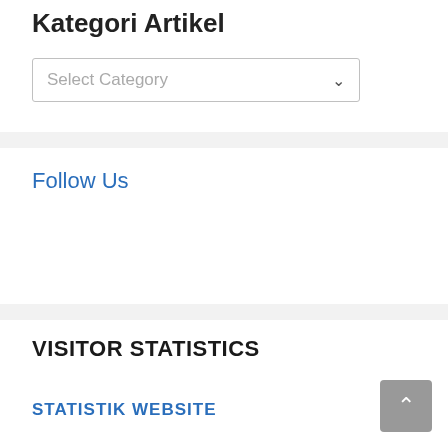Kategori Artikel
[Figure (other): Dropdown select box with label 'Select Category' and a chevron arrow on the right]
Follow Us
VISITOR STATISTICS
STATISTIK WEBSITE